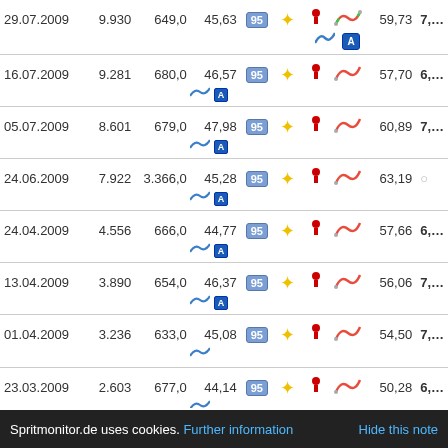| Date | Odometer | Distance | Consumption | Fuel | Conditions | Route | Speed | Price | Cost |
| --- | --- | --- | --- | --- | --- | --- | --- | --- | --- |
| 29.07.2009 | 9.930 | 649,0 | 45,63 | 95 | sun/traffic/autobahn | 59,73 | 7,… |
| 16.07.2009 | 9.281 | 680,0 | 46,57 | 95 | sun/traffic/autobahn | 57,70 | 6,… |
| 05.07.2009 | 8.601 | 679,0 | 47,98 | 95 | sun/traffic/autobahn | 60,89 | 7,… |
| 24.06.2009 | 7.922 | 3.366,0 | 45,28 | 95 | sun/traffic/autobahn | 63,19 |  |
| 24.04.2009 | 4.556 | 666,0 | 44,77 | 95 | sun/traffic/autobahn | 57,66 | 6,… |
| 13.04.2009 | 3.890 | 654,0 | 46,37 | 95 | sun/traffic/autobahn | 56,06 | 7,… |
| 01.04.2009 | 3.236 | 633,0 | 45,08 | 95 | sun/traffic | 54,50 | 7,… |
| 23.03.2009 | 2.603 | 677,0 | 44,14 | 95 | sun/traffic | 50,28 | 6,… |
Spritmonitor.de uses cookies. Further information   Hide this note